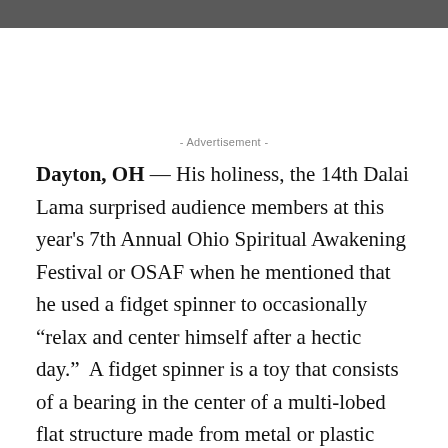- Advertisement -
Dayton, OH — His holiness, the 14th Dalai Lama surprised audience members at this year's 7th Annual Ohio Spiritual Awakening Festival or OSAF when he mentioned that he used a fidget spinner to occasionally “relax and center himself after a hectic day.”  A fidget spinner is a toy that consists of a bearing in the center of a multi-lobed flat structure made from metal or plastic designed to spin along its axis with little effort.